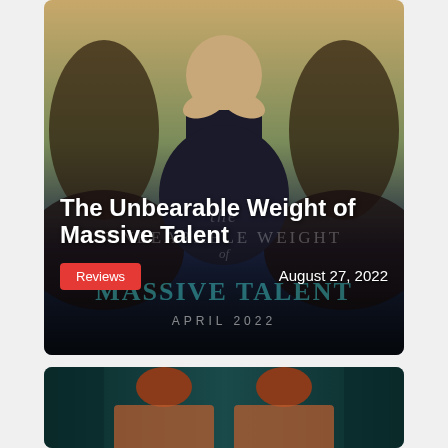[Figure (photo): Movie poster for 'The Unbearable Weight of Massive Talent' featuring Nicolas Cage in a dramatic pose with hands clasped near face, wearing a dark suit. Mirrored composition. Text overlay shows title and 'APRIL 2022'. White bold text overlay reads 'The Unbearable Weight of Massive Talent'. Red 'Reviews' badge and 'August 27, 2022' date shown at bottom.]
The Unbearable Weight of Massive Talent
Reviews
August 27, 2022
[Figure (photo): Partial movie poster showing two figures from behind with reddish hair against a teal/dark background, partially visible at the bottom of the page.]